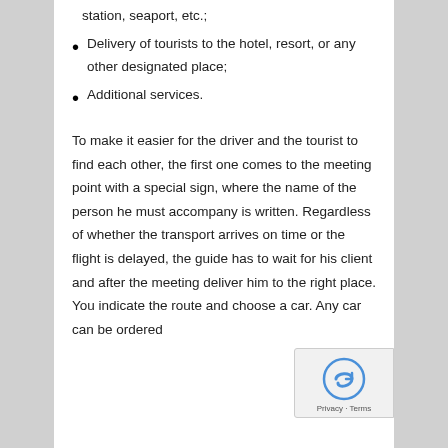station, seaport, etc.;
Delivery of tourists to the hotel, resort, or any other designated place;
Additional services.
To make it easier for the driver and the tourist to find each other, the first one comes to the meeting point with a special sign, where the name of the person he must accompany is written. Regardless of whether the transport arrives on time or the flight is delayed, the guide has to wait for his client and after the meeting deliver him to the right place. You indicate the route and choose a car. Any car can be ordered